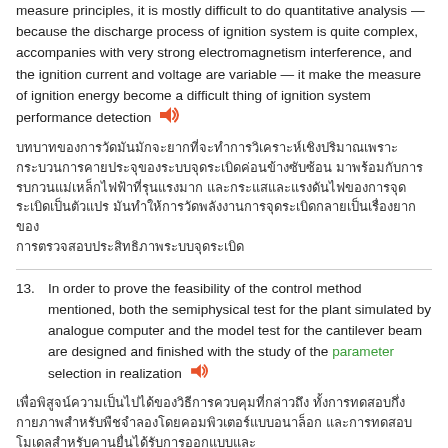measure principles, it is mostly difficult to do quantitative analysis — because the discharge process of ignition system is quite complex, accompanies with very strong electromagnetism interference, and the ignition current and voltage are variable — it make the measure of ignition energy become a difficult thing of ignition system performance detection 🔊
[Thai text] - Chinese/Thai translation of the above paragraph
13. In order to prove the feasibility of the control method mentioned, both the semiphysical test for the plant simulated by analogue computer and the model test for the cantilever beam are designed and finished with the study of the parameter selection in realization 🔊
[Thai text] - Chinese/Thai translation of item 13